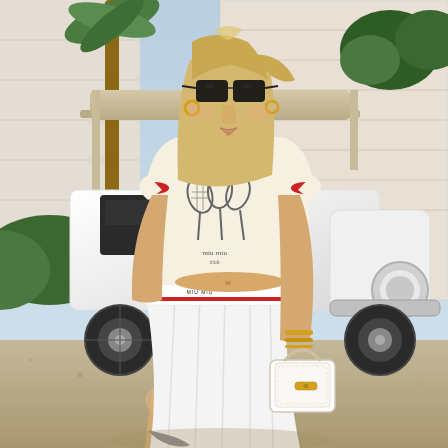[Figure (photo): A young blonde woman wearing black sunglasses, gold hoop earrings, a white crop ringer t-shirt with red trim featuring a Miu Miu tennis racket graphic, white pleated mini skirt with a branded elastic waistband in white and red, gold bracelets, and holding a small white structured handbag. She is seated/leaning against a vintage white open-air electric golf cart/vehicle with chrome details, parked on a gravel driveway near a building with white siding, green shrubs, and palm trees in the background.]